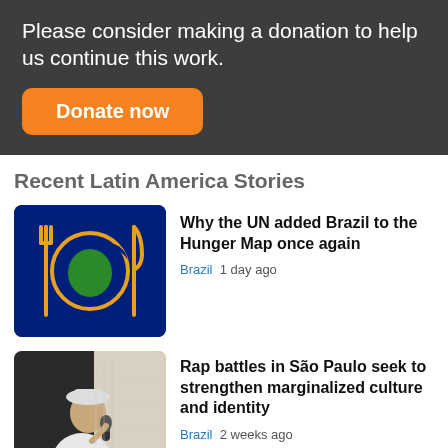Please consider making a donation to help us continue this work.
Donate now
Recent Latin America Stories
[Figure (illustration): Dark blue square with yellow fork, knife, and circular plate icon containing a green map of Brazil]
Why the UN added Brazil to the Hunger Map once again
Brazil  1 day ago
[Figure (photo): Person wearing white shirt and hat, speaking or rapping into a microphone outdoors]
Rap battles in São Paulo seek to strengthen marginalized culture and identity
Brazil  2 weeks ago